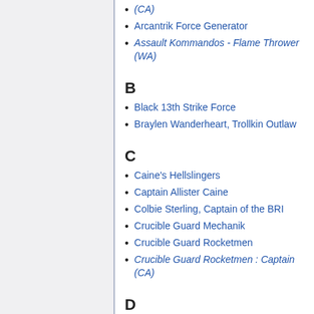(CA)
Arcantrik Force Generator
Assault Kommandos - Flame Thrower (WA)
B
Black 13th Strike Force
Braylen Wanderheart, Trollkin Outlaw
C
Caine's Hellslingers
Captain Allister Caine
Colbie Sterling, Captain of the BRI
Crucible Guard Mechanik
Crucible Guard Rocketmen
Crucible Guard Rocketmen : Captain (CA)
D
Dahlia Hallyr : Skarath (Companion)